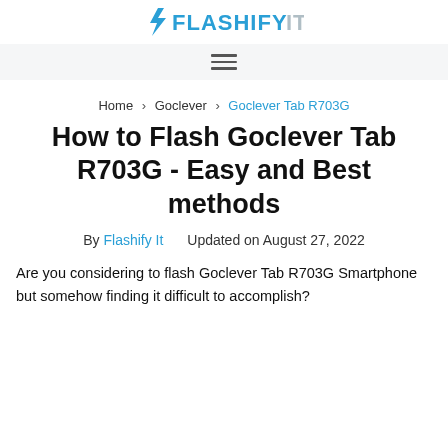Flashify It
Home > Goclever > Goclever Tab R703G
How to Flash Goclever Tab R703G - Easy and Best methods
By Flashify It   Updated on August 27, 2022
Are you considering to flash Goclever Tab R703G Smartphone but somehow finding it difficult to accomplish?